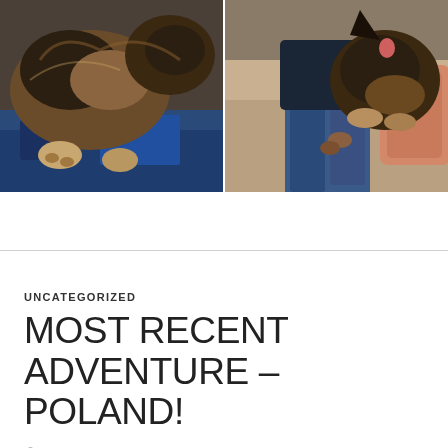[Figure (photo): Two side-by-side photos of German Shepherd dogs. Left photo: close-up of a German Shepherd lying on a blue blanket/fabric, front paws visible. Right photo: a German Shepherd sitting on a couch next to a person wearing a dark t-shirt and jeans.]
UNCATEGORIZED
MOST RECENT ADVENTURE – POLAND!
DECEMBER 5, 2017   2 COMMENTS